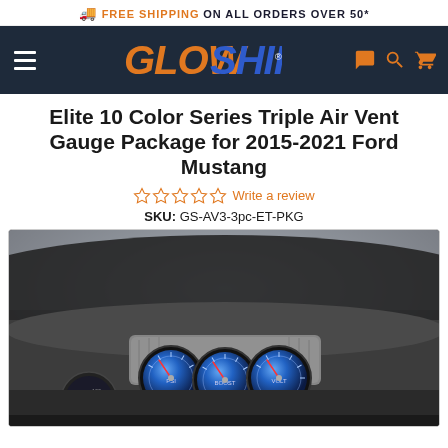FREE SHIPPING ON ALL ORDERS OVER 50*
[Figure (logo): GlowShift logo in orange and blue italic bold text on dark navy navigation bar with hamburger menu, chat, search, and cart icons]
Elite 10 Color Series Triple Air Vent Gauge Package for 2015-2021 Ford Mustang
Write a review
SKU: GS-AV3-3pc-ET-PKG
[Figure (photo): Photo of a 2015-2021 Ford Mustang dashboard interior showing three circular gauges with blue LED illumination and red needles mounted in the center air vent area]